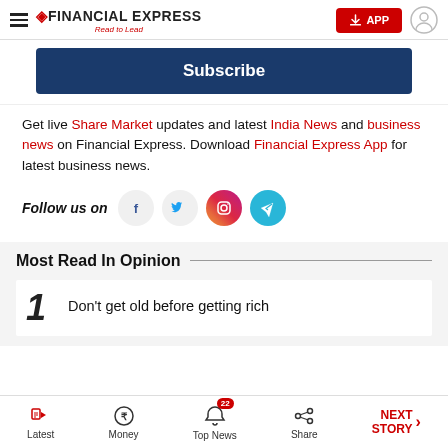Financial Express — Read to Lead
Subscribe
Get live Share Market updates and latest India News and business news on Financial Express. Download Financial Express App for latest business news.
Follow us on
Most Read In Opinion
1 Don't get old before getting rich
Latest | Money | Top News 22 | Share | NEXT STORY